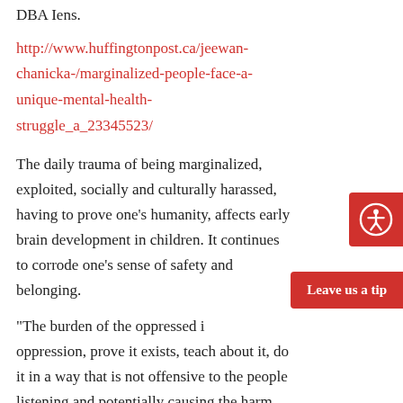DBA Iens.
http://www.huffingtonpost.ca/jeewan-chanicka-/marginalized-people-face-a-unique-mental-health-struggle_a_23345523/
The daily trauma of being marginalized, exploited, socially and culturally harassed, having to prove one's humanity, affects early brain development in children. It continues to corrode one’s sense of safety and belonging.
[Figure (other): Red circular accessibility icon button in top-right corner]
[Figure (other): Red 'Leave us a tip' button on right side]
“The burden of the oppressed is to name the oppression, prove it exists, teach about it, do it in a way that is not offensive to the people listening and potentially causing the harm,